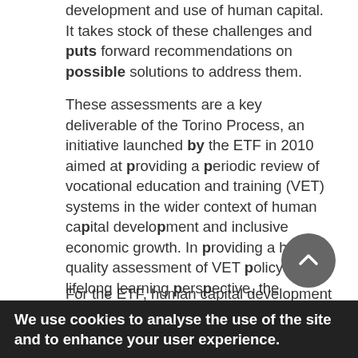development and use of human capital. It takes stock of these challenges and puts forward recommendations on possible solutions to address them.
These assessments are a key deliverable of the Torino Process, an initiative launched by the ETF in 2010 aimed at providing a periodic review of vocational education and training (VET) systems in the wider context of human capital development and inclusive economic growth. In providing a high-quality assessment of VET policy from a lifelong learning perspective, the process builds on four key principles: ownership, participation, holistic and evidence-based analysis.
For the ETF, human capital development is
We use cookies to analyse the use of the site and to enhance your user experience.